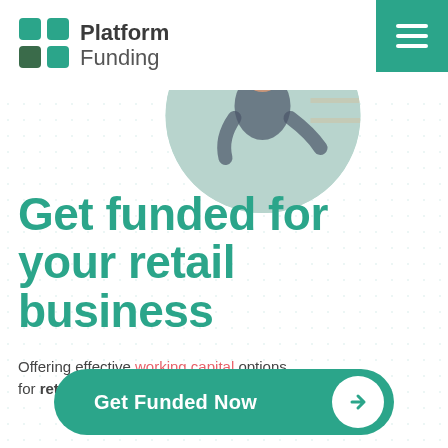[Figure (logo): Platform Funding logo with four colored squares (teal and dark green) arranged in a 2x2 grid, followed by bold text 'Platform Funding']
[Figure (photo): Circular cropped photo of a smiling young woman with curly hair in a dark blue top, standing in what appears to be a retail shoe shop]
Get funded for your retail business
Offering effective working capital options for retail stores & shops
[Figure (other): Teal call-to-action button with white text 'Get Funded Now' and a white circle containing a right-pointing arrow]